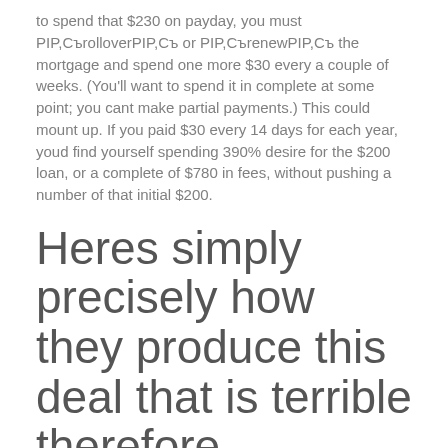to spend that $230 on payday, you must PIP,СъrolloverPIP,Съ or PIP,СъrenewPIP,Съ the mortgage and spend one more $30 every a couple of weeks. (You'll want to spend it in complete at some point; you cant make partial payments.) This could mount up. If you paid $30 every 14 days for each year, youd find yourself spending 390% desire for the $200 loan, or a complete of $780 in fees, without pushing a number of that initial $200.
Heres simply precisely how they produce this deal that is terrible therefore exemplary.
The desire you're getting cash now to utilize however you need!